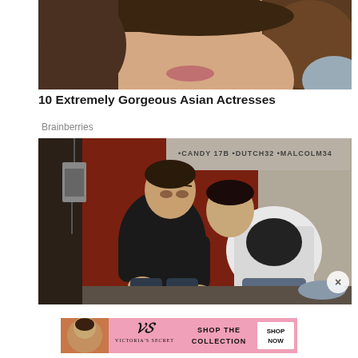[Figure (photo): Cropped close-up photo of a woman's face showing lower face and hair]
10 Extremely Gorgeous Asian Actresses
Brainberries
[Figure (photo): Photo of two men sitting against a wall with graffiti reading CANDY 17B, DUTCH32, MALCOLM34. One man in black sweater sits upright while another leans on him.]
[Figure (photo): Victoria's Secret advertisement banner with pink background, VS logo, text SHOP THE COLLECTION, and SHOP NOW button]